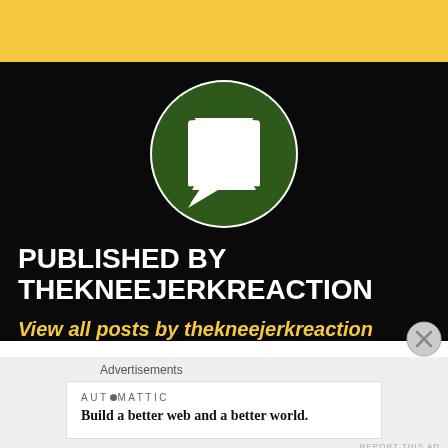[Figure (logo): Yellow header bar at top of page]
[Figure (logo): Circular logo with green and white geometric arrow/chat bubble design on black background]
PUBLISHED BY THEKNEEJERKREACTION
View all posts by thekneejerkreaction
Advertisements
[Figure (logo): Automattic advertisement box with tagline: Build a better web and a better world.]